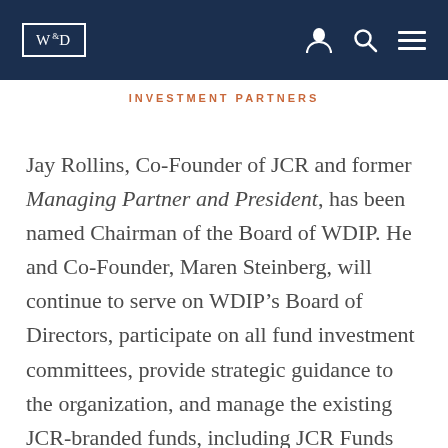W&D | INVESTMENT PARTNERS
INVESTMENT PARTNERS
Jay Rollins, Co-Founder of JCR and former Managing Partner and President, has been named Chairman of the Board of WDIP. He and Co-Founder, Maren Steinberg, will continue to serve on WDIP’s Board of Directors, participate on all fund investment committees, provide strategic guidance to the organization, and manage the existing JCR-branded funds, including JCR Funds III, IV, and V.